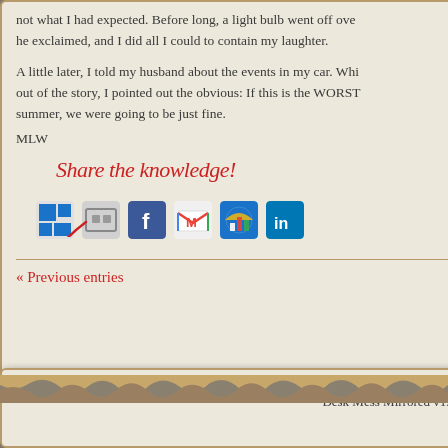not what I had expected. Before long, a light bulb went over he exclaimed, and I did all I could to contain my laughter.
A little later, I told my husband about the events in my car. While out of the story, I pointed out the obvious: If this is the WORST summer, we were going to be just fine.
MLW
[Figure (infographic): Share the knowledge! text in red handwriting with a red arrow, followed by social media share icons (Windows, share, Facebook, Gmail, chart icon, LinkedIn)]
« Previous entries
Copyright © 2010-2022 Desk Mess Mirrored v1...